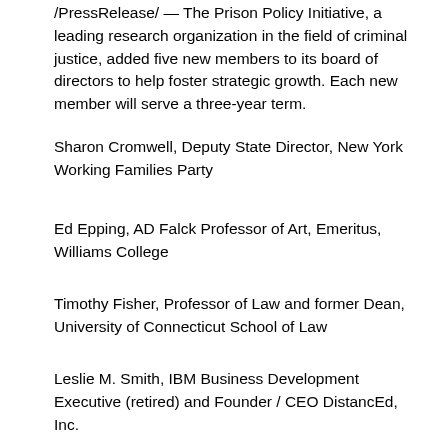/PressRelease/ — The Prison Policy Initiative, a leading research organization in the field of criminal justice, added five new members to its board of directors to help foster strategic growth. Each new member will serve a three-year term.
Sharon Cromwell, Deputy State Director, New York Working Families Party
Ed Epping, AD Falck Professor of Art, Emeritus, Williams College
Timothy Fisher, Professor of Law and former Dean, University of Connecticut School of Law
Leslie M. Smith, IBM Business Development Executive (retired) and Founder / CEO DistancEd, Inc.
Paul Watterson, Of Counsel, Schulte Roth & Zabel LLP